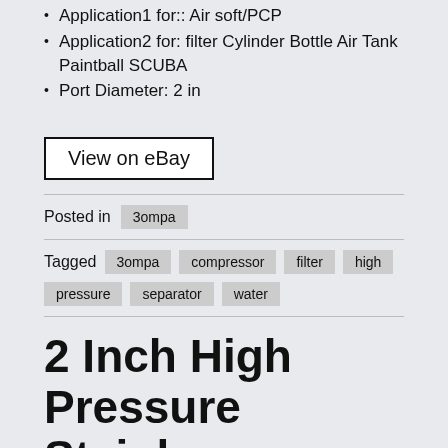Application1 for:: Air soft/PCP
Application2 for: filter Cylinder Bottle Air Tank Paintball SCUBA
Port Diameter: 2 in
View on eBay
Posted in  3ompa
Tagged  3ompa  compressor  filter  high  pressure  separator  water
2 Inch High Pressure Stainless